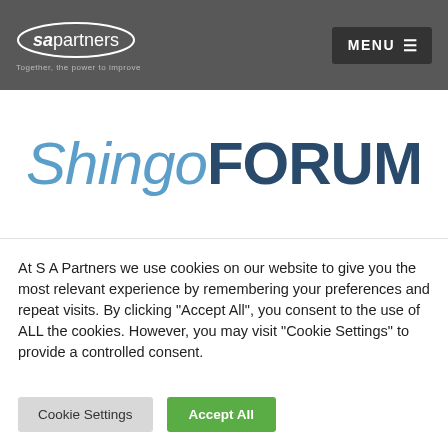sapartners – Together, the power to improve | MENU
[Figure (logo): ShingoFORUM logo with 'Shingo' in blue italic and 'FORUM' in dark blue bold]
At S A Partners we use cookies on our website to give you the most relevant experience by remembering your preferences and repeat visits. By clicking "Accept All", you consent to the use of ALL the cookies. However, you may visit "Cookie Settings" to provide a controlled consent.
Cookie Settings | Accept All